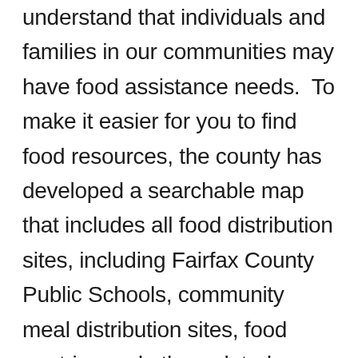understand that individuals and families in our communities may have food assistance needs. To make it easier for you to find food resources, the county has developed a searchable map that includes all food distribution sites, including Fairfax County Public Schools, community meal distribution sites, food pantries and other related services. You can enter your address, select how many miles from your address you want to search and select from the food distribution and assistance sites to find the name, address, hours (if